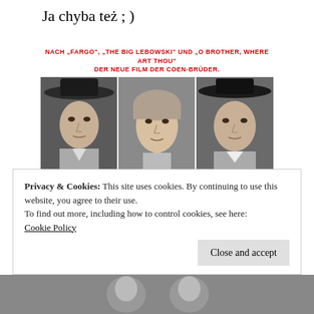Ja chyba też ; )
[Figure (photo): Movie poster for 'The Man Who Wasn't There' by the Coen Brothers. Shows three black-and-white portraits of Billy Bob Thornton, Frances McDormand, and James Gandolfini. Red tagline text at top reads: NACH 'FARGO', 'THE BIG LEBOWSKI' UND 'O BROTHER, WHERE ART THOU' DER NEUE FILM DER COEN-BRÜDER. Actor names in small caps below photos. Movie title in large red bold text: THE MAN WHO WASN'T THERE.]
Privacy & Cookies: This site uses cookies. By continuing to use this website, you agree to their use.
To find out more, including how to control cookies, see here:
Cookie Policy
Close and accept